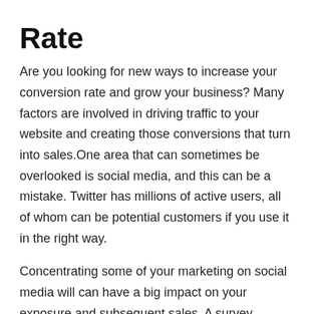Rate
Are you looking for new ways to increase your conversion rate and grow your business? Many factors are involved in driving traffic to your website and creating those conversions that turn into sales.One area that can sometimes be overlooked is social media, and this can be a mistake. Twitter has millions of active users, all of whom can be potential customers if you use it in the right way.
Concentrating some of your marketing on social media will can have a big impact on your exposure and subsequent sales. A survey conducted by DMRfound that over 65% of US businesses use Twitter in their marketing campaign. This shows how valuable social media campaigns can be and why